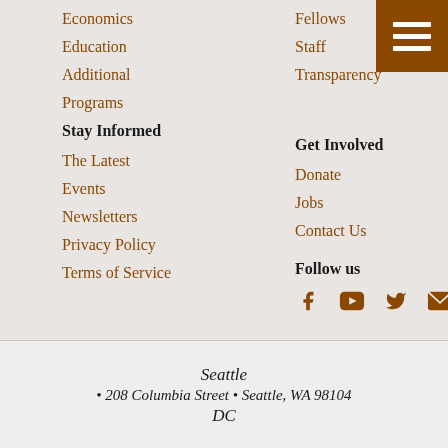Economics
Fellows
Education
Staff
Additional
Transparency
Programs
Stay Informed
Get Involved
The Latest
Donate
Events
Jobs
Newsletters
Contact Us
Privacy Policy
Follow us
Terms of Service
Seattle
• 208 Columbia Street • Seattle, WA 98104
DC